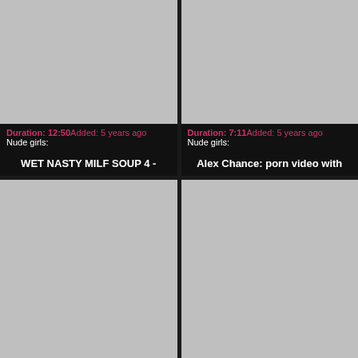[Figure (screenshot): Gray placeholder thumbnail for video 1 (top left)]
Duration: 12:50Added: 5 years ago
Nude girls:
WET NASTY MILF SOUP 4 -
[Figure (screenshot): Gray placeholder thumbnail for video 2 (top right)]
Duration: 7:11Added: 5 years ago
Nude girls:
Alex Chance: porn video with
[Figure (screenshot): Gray placeholder thumbnail for video 3 (bottom left)]
[Figure (screenshot): Gray placeholder thumbnail for video 4 (bottom right)]